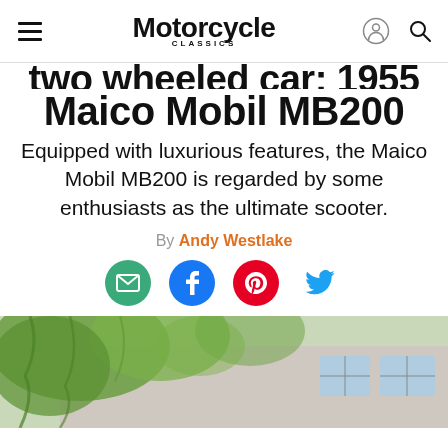Motorcycle Classics
Two Wheeled Car: 1955 Maico Mobil MB200
Equipped with luxurious features, the Maico Mobil MB200 is regarded by some enthusiasts as the ultimate scooter.
By Andy Westlake
[Figure (illustration): Social sharing icons: email (green circle), Facebook (blue circle), Pinterest (red circle), Twitter (bird icon)]
[Figure (photo): Outdoor scene with a brick building, windows, and green leafy trees/vines in the foreground]